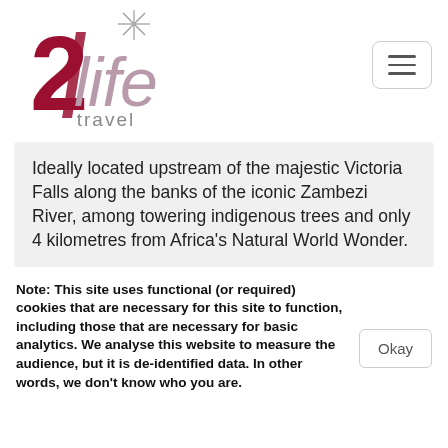[Figure (logo): 2life travel logo — stylized number 2 in dark red/maroon with a diagonal slash, italic 'life' in muted mauve/pink, and 'travel' in gray below]
Ideally located upstream of the majestic Victoria Falls along the banks of the iconic Zambezi River, among towering indigenous trees and only 4 kilometres from Africa's Natural World Wonder.
Note: This site uses functional (or required) cookies that are necessary for this site to function, including those that are necessary for basic analytics. We analyse this website to measure the audience, but it is de-identified data. In other words, we don't know who you are.